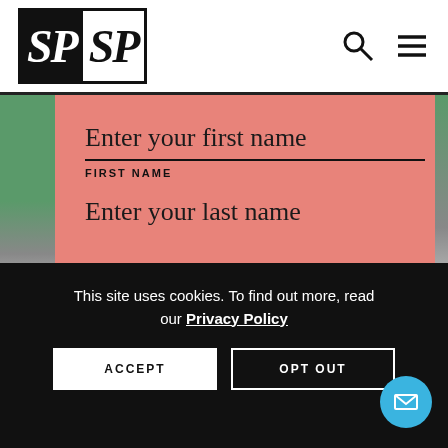SPSP logo with search and menu icons
Enter your first name
FIRST NAME
Enter your last name
This site uses cookies. To find out more, read our Privacy Policy
ACCEPT
OPT OUT